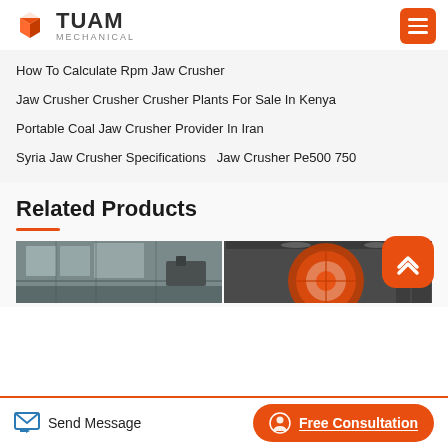TUAM MECHANICAL
How To Calculate Rpm Jaw Crusher
Jaw Crusher Crusher Crusher Plants For Sale In Kenya
Portable Coal Jaw Crusher Provider In Iran
Syria Jaw Crusher Specifications  Jaw Crusher Pe500 750
Related Products
[Figure (photo): Industrial machinery/crusher equipment in a factory setting, showing two panels side by side]
Send Message | Free Consultation